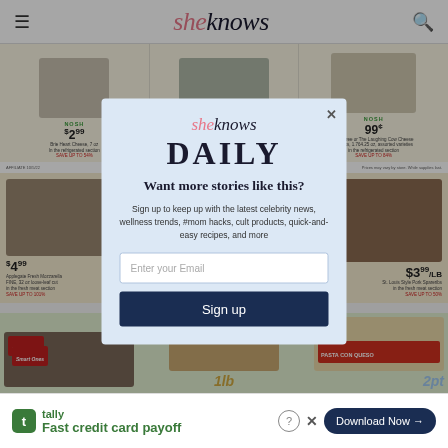sheknows
[Figure (screenshot): Grocery store advertisement background showing cheese products with NOSH labels and prices: $2.99 Brie Heart Cheese, $1.99 Violife Plant-Based Cheese, 99¢ Rountree or The Laughing Cow Cheese Snacks]
[Figure (screenshot): Grocery store advertisement section showing meat products: $4.99 Applegate Fresh Mozzarella, $3.99/lb St. Louis Style Pork Spareribs]
[Figure (screenshot): Grocery store advertisement showing frozen foods: Smart Ones pizzas, Sargento cheese, and Pasta Con Queso]
[Figure (screenshot): Tally app advertisement banner: Fast credit card payoff, Download Now button]
Want more stories like this?
Sign up to keep up with the latest celebrity news, wellness trends, #mom hacks, cult products, quick-and-easy recipes, and more
Enter your Email
Sign up